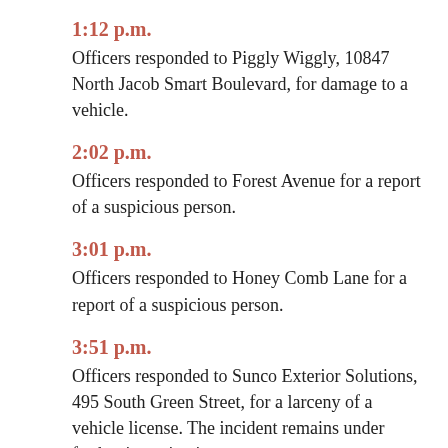1:12 p.m.
Officers responded to Piggly Wiggly, 10847 North Jacob Smart Boulevard, for damage to a vehicle.
2:02 p.m.
Officers responded to Forest Avenue for a report of a suspicious person.
3:01 p.m.
Officers responded to Honey Comb Lane for a report of a suspicious person.
3:51 p.m.
Officers responded to Sunco Exterior Solutions, 495 South Green Street, for a larceny of a vehicle license. The incident remains under further investigation.
4:30 p.m.